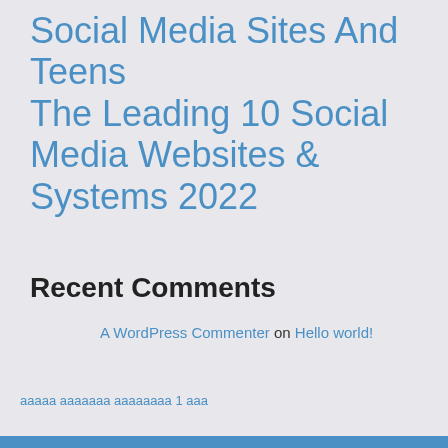Social Media Sites And Teens
The Leading 10 Social Media Websites & Systems 2022
Recent Comments
A WordPress Commenter on Hello world!
ааааа ааааааа аааааааа 1 ааа